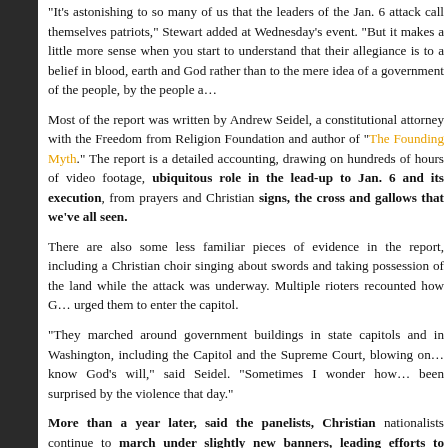"It's astonishing to so many of us that the leaders of the Jan. 6 attack call themselves patriots," Stewart added at Wednesday's event. "But it makes a little more sense when you start to understand that their allegiance is to a belief in blood, earth and God rather than to the mere idea of a government of the people, by the people and for the people."
Most of the report was written by Andrew Seidel, a constitutional attorney with the Freedom from Religion Foundation and author of "The Founding Myth." The report is a detailed accounting, drawing on hundreds of hours of video footage, of Christian nationalism's ubiquitous role in the lead-up to Jan. 6 and its execution, from prayers and Christian signs, the cross and gallows that we've all seen.
There are also some less familiar pieces of evidence in the report, including a Christian choir singing about swords and taking possession of the land while the attack was underway. Multiple rioters recounted how God had spoken to them and urged them to enter the capitol.
"They marched around government buildings in state capitols and in Washington, including the Capitol and the Supreme Court, blowing on shofars to ask God to let them know God's will," said Seidel. "Sometimes I wonder how anyone could have been surprised by the violence that day."
More than a year later, said the panelists, Christian nationalists continue to march under slightly new banners, leading efforts to cement minority rule through gerrymandering and new legislation that would range from lifetime disenfranchisement of convicted felons to Jim Crow-like laws targeting would-be voters. Christian nationalism is also an...